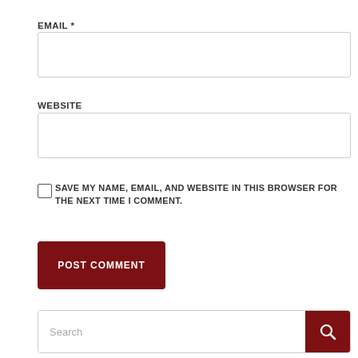EMAIL *
[Figure (other): Email input text field, empty, with border]
WEBSITE
[Figure (other): Website input text field, empty, with border]
SAVE MY NAME, EMAIL, AND WEBSITE IN THIS BROWSER FOR THE NEXT TIME I COMMENT.
[Figure (other): POST COMMENT button, dark red background, white text]
[Figure (other): Search bar with placeholder text 'Search' and dark red search icon button on right]